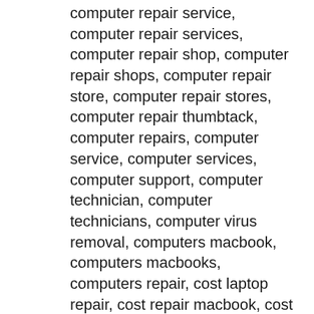computer repair service, computer repair services, computer repair shop, computer repair shops, computer repair store, computer repair stores, computer repair thumbtack, computer repairs, computer service, computer services, computer support, computer technician, computer technicians, computer virus removal, computers macbook, computers macbooks, computers repair, cost laptop repair, cost repair macbook, cost repair macbook screen, cost to repair a laptop, data recovery, dell laptop repair, dell laptop repair service, dell laptops repair, dell laptops repairs, desktop repair, different types of macbooks, discount laptop repair, discounted laptop repair, do i repair my laptop, do it yourself laptop repair, do macbooks, dunwoody laptop repair, east point laptop repair, emachines laptop repair, emachines laptop repair service, facetime on macbook pro, factory repair